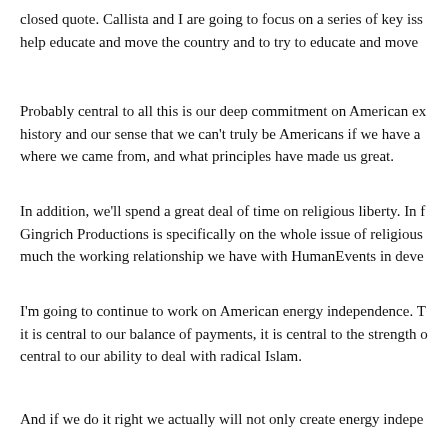closed quote. Callista and I are going to focus on a series of key issues that help educate and move the country and to try to educate and move…
Probably central to all this is our deep commitment on American exceptionalism, history and our sense that we can't truly be Americans if we have an ignorance of where we came from, and what principles have made us great.
In addition, we'll spend a great deal of time on religious liberty. In fact, one of Gingrich Productions is specifically on the whole issue of religious liberty, very much the working relationship we have with HumanEvents in developing…
I'm going to continue to work on American energy independence. That is because it is central to our balance of payments, it is central to the strength of our… central to our ability to deal with radical Islam.
And if we do it right we actually will not only create energy independence…